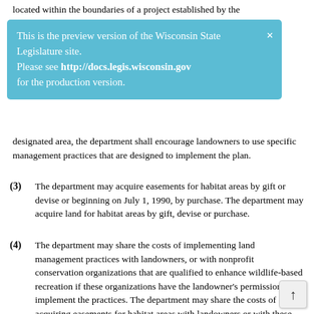located within the boundaries of a project established by the
This is the preview version of the Wisconsin State Legislature site. Please see http://docs.legis.wisconsin.gov for the production version.
designated area, the department shall encourage landowners to use specific management practices that are designed to implement the plan.
(3) The department may acquire easements for habitat areas by gift or devise or beginning on July 1, 1990, by purchase. The department may acquire land for habitat areas by gift, devise or purchase.
(4) The department may share the costs of implementing land management practices with landowners, or with nonprofit conservation organizations that are qualified to enhance wildlife-based recreation if these organizations have the landowner's permission to implement the practices. The department may share the costs of acquiring easements for habitat areas with landowners or with these nonprofit conservation organizations. If the funding for cost-sharing under this subsection will be expended from the appropriation under s. 20.866 (2) (ta), the amount expended for the cost-sharing may not exceed 50 percent of the cost of the management practices or of the acquisition costs for the easement except as provided in s. 23.096 (2m).